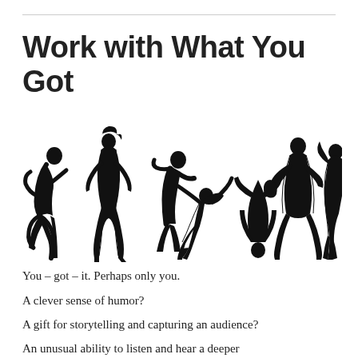Work with What You Got
[Figure (illustration): Six black silhouettes of people in various dynamic poses: a person leaning back singing/drinking, a slim female figure, two people dancing together, a person doing a headstand, a person playing guitar, and a person posing with arms raised.]
You – got – it.  Perhaps only you.
A clever sense of humor?
A gift for storytelling and capturing an audience?
An unusual ability to listen and hear a deeper